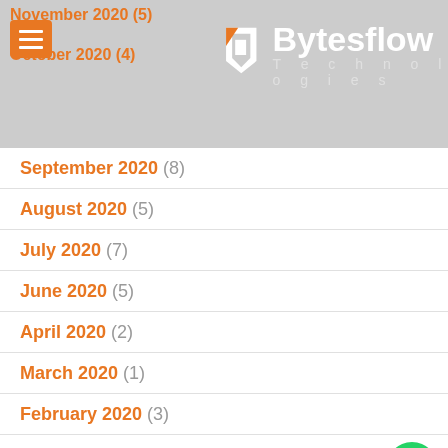Bytesflow Technologies — navigation header
November 2020 (5)
October 2020 (4)
September 2020 (8)
August 2020 (5)
July 2020 (7)
June 2020 (5)
April 2020 (2)
March 2020 (1)
February 2020 (3)
January 2020 (5)
May 2019 (2)
April 2019 (3)